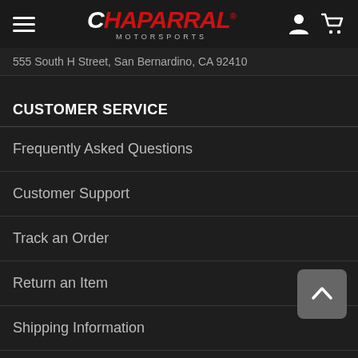Chaparral Motorsports
555 South H Street, San Bernardino, CA 92410
CUSTOMER SERVICE
Frequently Asked Questions
Customer Support
Track an Order
Return an Item
Shipping Information